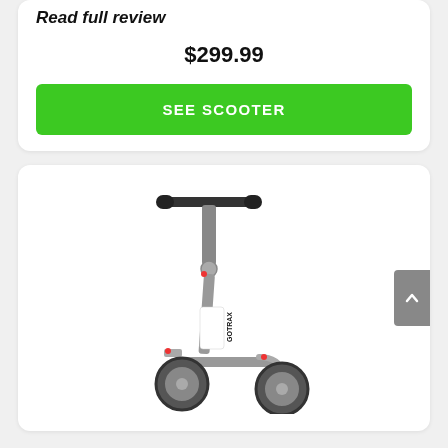Read full review
$299.99
SEE SCOOTER
[Figure (photo): GOTRAX electric scooter, gray/silver color, standing upright at an angle showing handlebar, stem with GOTRAX branding, deck, and two wheels]